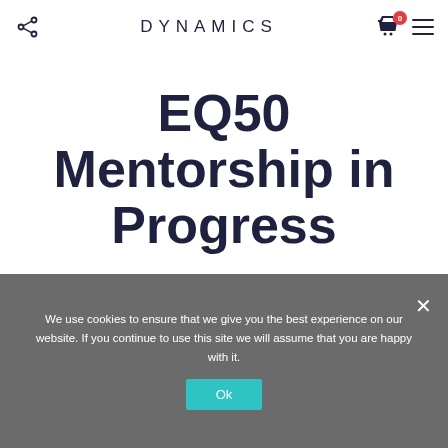DYNAMICS
EQ50 Mentorship in Progress
We use cookies to ensure that we give you the best experience on our website. If you continue to use this site we will assume that you are happy with it.